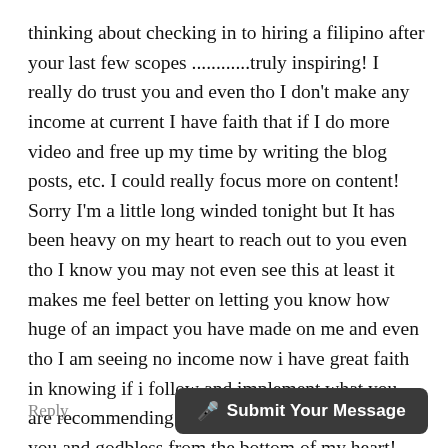thinking about checking in to hiring a filipino after your last few scopes ............truly inspiring! I really do trust you and even tho I don't make any income at current I have faith that if I do more video and free up my time by writing the blog posts, etc. I could really focus more on content! Sorry I'm a little long winded tonight but It has been heavy on my heart to reach out to you even tho I know you may not even see this at least it makes me feel better on letting you know how huge of an impact you have made on me and even tho I am seeing no income now i have great faith in knowing if i follow and implement what you are recommending I WILL be successful! Thank you and godbless from the bottom of my heart! Tandy
Reply
Submit Your Message